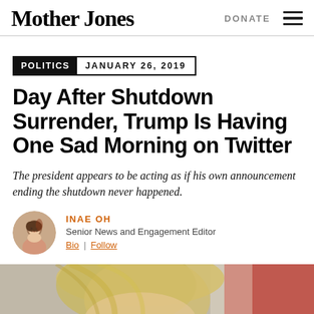Mother Jones | DONATE
POLITICS   JANUARY 26, 2019
Day After Shutdown Surrender, Trump Is Having One Sad Morning on Twitter
The president appears to be acting as if his own announcement ending the shutdown never happened.
INAE OH
Senior News and Engagement Editor
Bio | Follow
[Figure (photo): Photograph of a person with blonde hair, partially visible, with a red and white blurred background.]